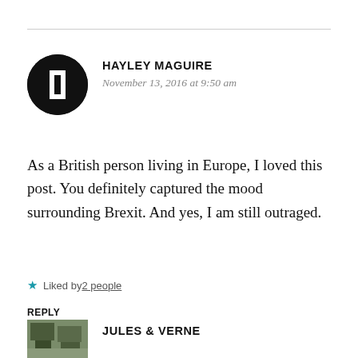HAYLEY MAGUIRE
November 13, 2016 at 9:50 am
As a British person living in Europe, I loved this post. You definitely captured the mood surrounding Brexit. And yes, I am still outraged.
Liked by 2 people
REPLY
JULES & VERNE